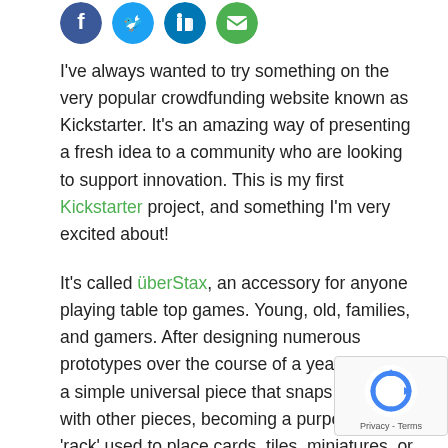[Figure (logo): Four social media icon circles (Facebook, Twitter, LinkedIn, email/message) in blue and green colors]
I've always wanted to try something on the very popular crowdfunding website known as Kickstarter. It's an amazing way of presenting a fresh idea to a community who are looking to support innovation. This is my first Kickstarter project, and something I'm very excited about!
It's called überStax, an accessory for anyone playing table top games. Young, old, families, and gamers. After designing numerous prototypes over the course of a year, I created a simple universal piece that snaps together with other pieces, becoming a purposeful 'rack' used to place cards, tiles, miniatures, or other game pieces during a gameplay.
[Figure (logo): Google reCAPTCHA badge with rotating arrows logo and Privacy - Terms text]